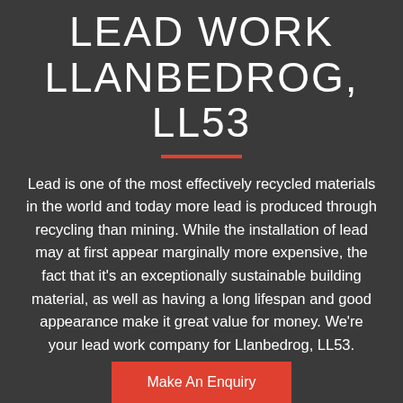LEAD WORK LLANBEDROG, LL53
Lead is one of the most effectively recycled materials in the world and today more lead is produced through recycling than mining. While the installation of lead may at first appear marginally more expensive, the fact that it's an exceptionally sustainable building material, as well as having a long lifespan and good appearance make it great value for money. We're your lead work company for Llanbedrog, LL53.
Make An Enquiry